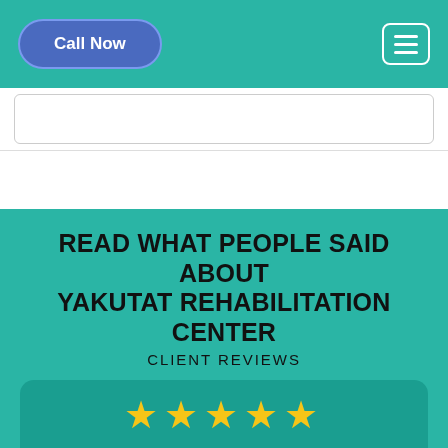Call Now
READ WHAT PEOPLE SAID ABOUT YAKUTAT REHABILITATION CENTER
CLIENT REVIEWS
“Excellent rehabilitation method. Seems like a gem in the Yakutat Educated, skilled, friendly